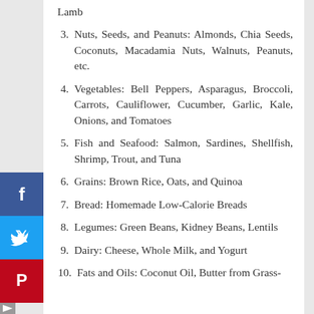Nuts, Seeds, and Peanuts: Almonds, Chia Seeds, Coconuts, Macadamia Nuts, Walnuts, Peanuts, etc.
Vegetables: Bell Peppers, Asparagus, Broccoli, Carrots, Cauliflower, Cucumber, Garlic, Kale, Onions, and Tomatoes
Fish and Seafood: Salmon, Sardines, Shellfish, Shrimp, Trout, and Tuna
Grains: Brown Rice, Oats, and Quinoa
Bread: Homemade Low-Calorie Breads
Legumes: Green Beans, Kidney Beans, Lentils
Dairy: Cheese, Whole Milk, and Yogurt
Fats and Oils: Coconut Oil, Butter from Grass-